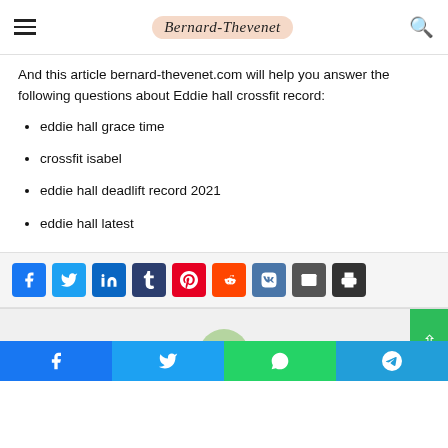Bernard-Thevenet
And this article bernard-thevenet.com will help you answer the following questions about Eddie hall crossfit record:
eddie hall grace time
crossfit isabel
eddie hall deadlift record 2021
eddie hall latest
[Figure (infographic): Social share buttons: Facebook, Twitter, LinkedIn, Tumblr, Pinterest, Reddit, VK, Email, Print]
[Figure (infographic): Bottom section with avatar image and green scroll-to-top button, and mobile social share bar with Facebook, Twitter, WhatsApp, Telegram buttons]